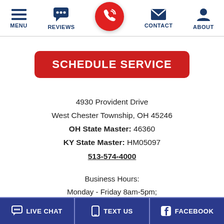[Figure (screenshot): Mobile app navigation bar with icons: MENU (hamburger), REVIEWS (chat bubble), phone call button (red circle with phone icon), CONTACT (envelope), ABOUT (person silhouette)]
SCHEDULE SERVICE
4930 Provident Drive
West Chester Township, OH 45246
OH State Master: 46360
KY State Master: HM05097
513-574-4000
Business Hours:
Monday - Friday 8am-5pm;
24/7 Emergency Service Available
[Figure (screenshot): Bottom navigation bar with three buttons: LIVE CHAT (chat bubble icon), TEXT US (phone icon), FACEBOOK (Facebook icon), on dark blue background]